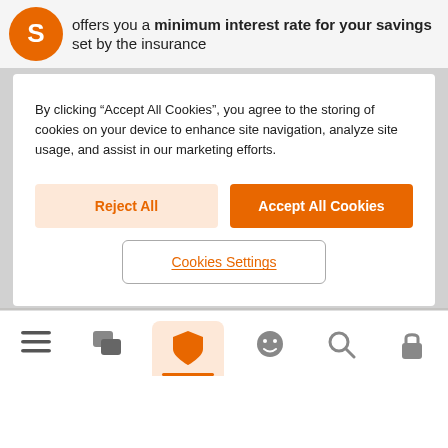offers you a minimum interest rate for your savings set by the insurance
By clicking “Accept All Cookies”, you agree to the storing of cookies on your device to enhance site navigation, analyze site usage, and assist in our marketing efforts.
Reject All
Accept All Cookies
Cookies Settings
The Performance formula for a potentially higher return